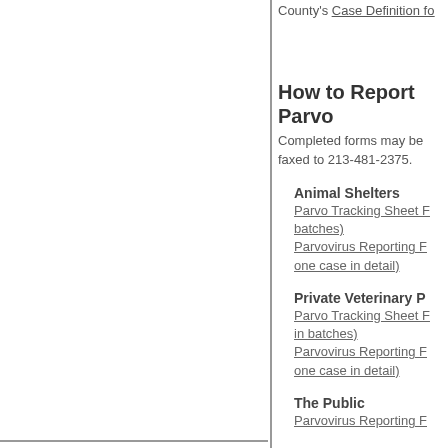County's Case Definition fo...
How to Report Parvo...
Completed forms may be faxed to 213-481-2375.
Animal Shelters
Parvo Tracking Sheet ... batches)
Parvovirus Reporting ... one case in detail)
Private Veterinary P...
Parvo Tracking Sheet ... in batches)
Parvovirus Reporting ... one case in detail)
The Public
Parvovirus Reporting F...